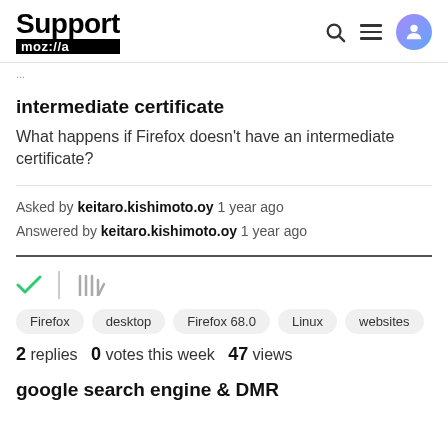Support moz://a
intermediate certificate
What happens if Firefox doesn't have an intermediate certificate?
Asked by keitaro.kishimoto.oy 1 year ago
Answered by keitaro.kishimoto.oy 1 year ago
Firefox  desktop  Firefox 68.0  Linux  websites
2 replies  0 votes this week  47 views
google search engine & DMR